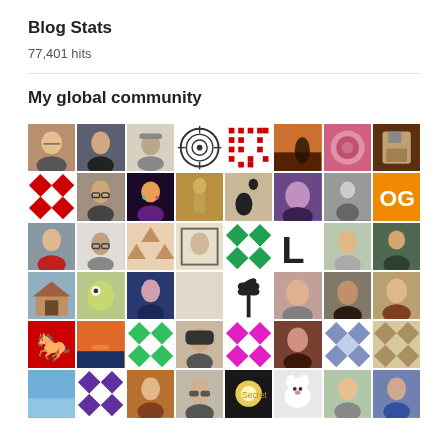Blog Stats
77,401 hits
My global community
[Figure (photo): Grid of community member avatar photos and profile icons, arranged in 6 rows of 8 avatars each]